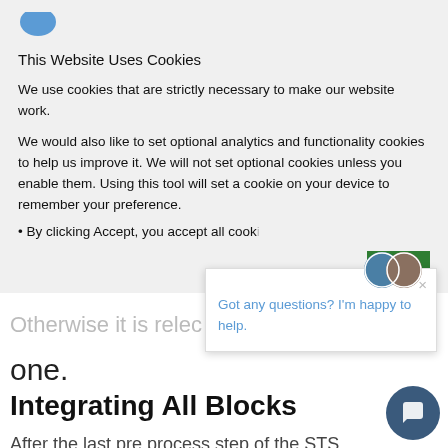[Figure (logo): Partial blue circular logo/icon at top left]
This Website Uses Cookies
We use cookies that are strictly necessary to make our website work.
We would also like to set optional analytics and functionality cookies to help us improve it. We will not set optional cookies unless you enable them. Using this tool will set a cookie on your device to remember your preference.
• By clicking Accept, you accept all cook[ies.]
Otherwise it is relec[ted.]
one.
Integrating All Blocks
After the last pre process step of the STS
[Figure (screenshot): Chat popup widget with two avatars and message 'Got any questions? I'm happy to help.' with close X button]
[Figure (other): Dark teal circular chat button at bottom right]